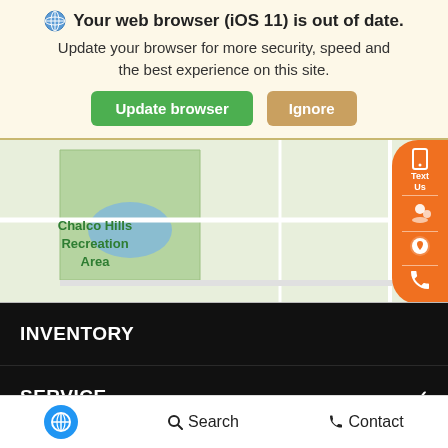Your web browser (iOS 11) is out of date. Update your browser for more security, speed and the best experience on this site. Update browser | Ignore
[Figure (map): Google Maps screenshot showing Chalco Hills Recreation Area and Manheim Omaha location marker, with road 50 visible]
INVENTORY
SERVICE
ABOUT
Accessibility | Search | Contact